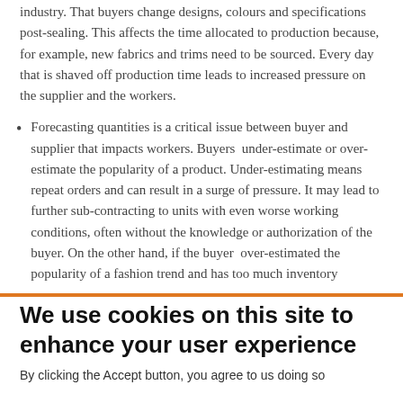industry. That buyers change designs, colours and specifications post-sealing. This affects the time allocated to production because, for example, new fabrics and trims need to be sourced. Every day that is shaved off production time leads to increased pressure on the supplier and the workers.
Forecasting quantities is a critical issue between buyer and supplier that impacts workers. Buyers under-estimate or over-estimate the popularity of a product. Under-estimating means repeat orders and can result in a surge of pressure. It may lead to further sub-contracting to units with even worse working conditions, often without the knowledge or authorization of the buyer. On the other hand, if the buyer over-estimated the popularity of a fashion trend and has too much inventory
We use cookies on this site to enhance your user experience
By clicking the Accept button, you agree to us doing so